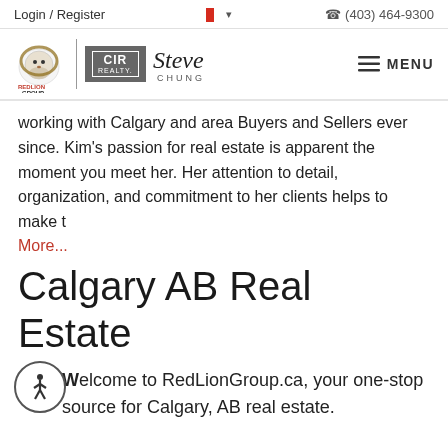Login / Register   (403) 464-9300
[Figure (logo): RedLion Group | CIR Realty | Steve Chung logo and navigation bar with MENU]
working with Calgary and area Buyers and Sellers ever since. Kim's passion for real estate is apparent the moment you meet her. Her attention to detail, organization, and commitment to her clients helps to make t
More...
Calgary AB Real Estate
Welcome to RedLionGroup.ca, your one-stop source for Calgary, AB real estate.